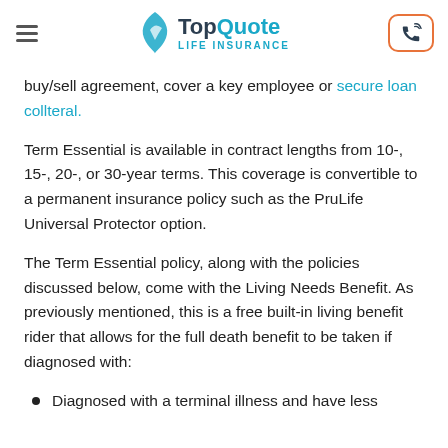TopQuote LIFE INSURANCE
buy/sell agreement, cover a key employee or secure loan collteral.
Term Essential is available in contract lengths from 10-, 15-, 20-, or 30-year terms. This coverage is convertible to a permanent insurance policy such as the PruLife Universal Protector option.
The Term Essential policy, along with the policies discussed below, come with the Living Needs Benefit. As previously mentioned, this is a free built-in living benefit rider that allows for the full death benefit to be taken if diagnosed with:
Diagnosed with a terminal illness and have less than twelve months to live